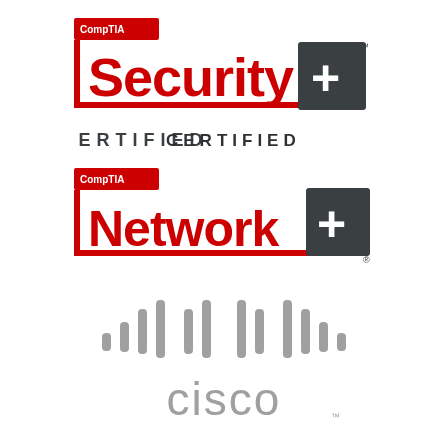[Figure (logo): CompTIA Security+ Certified logo — red bracket/bar design with 'CompTIA' in red badge top-left, 'Security+' in large red text, dark grey square with white '+', and 'CERTIFIED' in dark spaced caps below]
[Figure (logo): CompTIA Network+ logo — red bracket/bar design with 'CompTIA' in red badge top-left, 'Network+' in large red text, dark grey square with white '+']
[Figure (logo): Cisco logo — grey signal/sound-wave bars icon above grey 'cisco' wordmark in lowercase with TM mark]